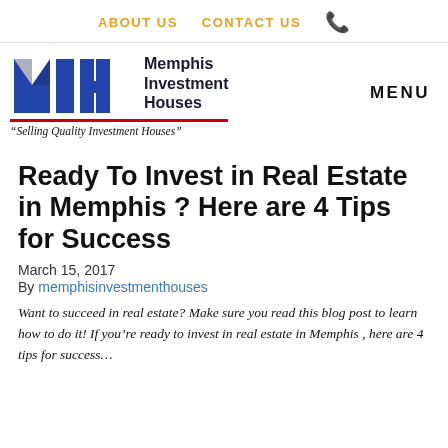ABOUT US   CONTACT US
[Figure (logo): Memphis Investment Houses logo with MIH graphic and tagline 'Selling Quality Investment Houses']
Ready To Invest in Real Estate in Memphis ? Here are 4 Tips for Success
March 15, 2017
By memphisinvestmenthouses
Want to succeed in real estate? Make sure you read this blog post to learn how to do it! If you're ready to invest in real estate in Memphis , here are 4 tips for success…